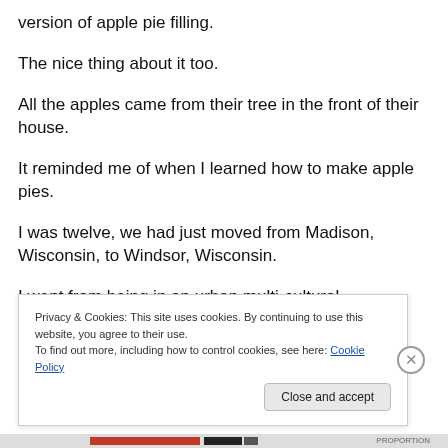version of apple pie filling.
The nice thing about it too.
All the apples came from their tree in the front of their house.
It reminded me of when I learned how to make apple pies.
I was twelve, we had just moved from Madison, Wisconsin, to Windsor, Wisconsin.
I went from being in an urban multi-cultural neighborhood
Privacy & Cookies: This site uses cookies. By continuing to use this website, you agree to their use.
To find out more, including how to control cookies, see here: Cookie Policy
Close and accept